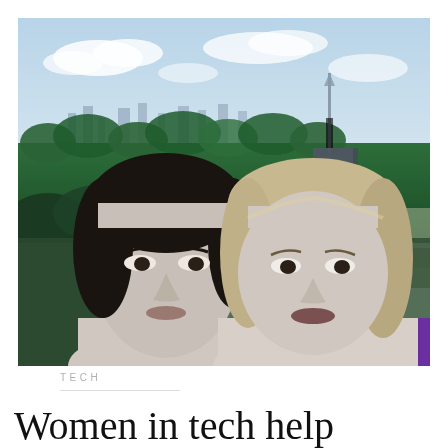[Figure (photo): A composite image: aerial cityscape of Kyiv, Ukraine in the background with green forests, city buildings, and the Motherland Monument statue visible. In the foreground, two women in black-and-white portraits are overlaid on the color cityscape. A purple rectangular block appears in the lower right of the image.]
TECH
Women in tech help